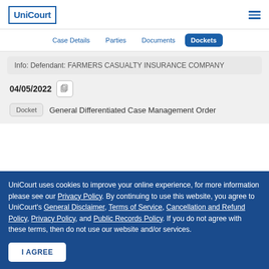UniCourt
Case Details | Parties | Documents | Dockets
Info: Defendant: FARMERS CASUALTY INSURANCE COMPANY
04/05/2022
Docket  General Differentiated Case Management Order
UniCourt uses cookies to improve your online experience, for more information please see our Privacy Policy. By continuing to use this website, you agree to UniCourt's General Disclaimer, Terms of Service, Cancellation and Refund Policy, Privacy Policy, and Public Records Policy. If you do not agree with these terms, then do not use our website and/or services.
I AGREE